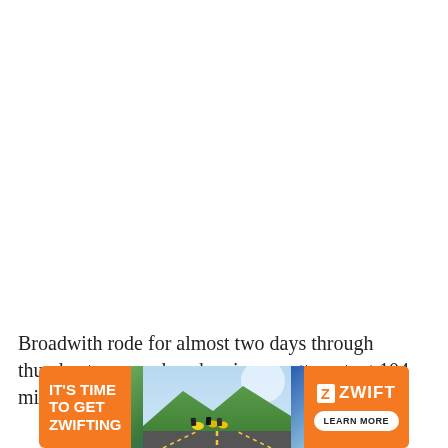Broadwith rode for almost two days through thunderstorms and neck pain; my attempt, at 104 miles (more on that
[Figure (illustration): Zwift advertisement banner. Orange background on left with bold white text reading IT'S TIME TO GET ZWIFTING. Center shows a photo of cyclists riding on a road with scenic mountains/coast background. Right side has orange background with Zwift logo and LEARN MORE button.]